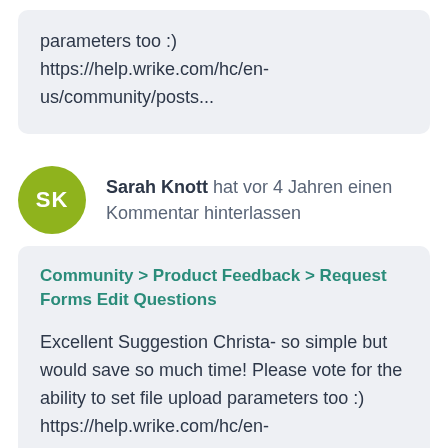parameters too :)
https://help.wrike.com/hc/en-us/community/posts...
Sarah Knott hat vor 4 Jahren einen Kommentar hinterlassen
Community > Product Feedback > Request Forms Edit Questions
Excellent Suggestion Christa- so simple but would save so much time!  Please vote for the ability to set file upload parameters too :) https://help.wrike.com/hc/en-